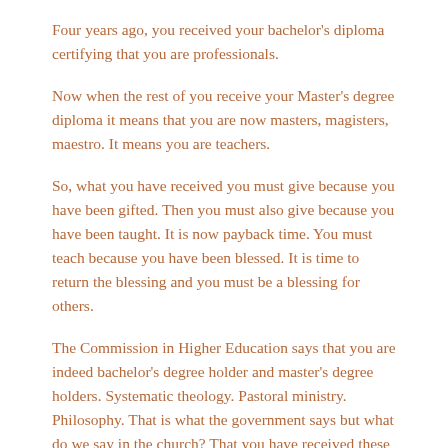Four years ago, you received your bachelor's diploma certifying that you are professionals.
Now when the rest of you receive your Master's degree diploma it means that you are now masters, magisters, maestro. It means you are teachers.
So, what you have received you must give because you have been gifted. Then you must also give because you have been taught. It is now payback time. You must teach because you have been blessed. It is time to return the blessing and you must be a blessing for others.
The Commission in Higher Education says that you are indeed bachelor's degree holder and master's degree holders. Systematic theology. Pastoral ministry. Philosophy. That is what the government says but what do we say in the church? That you have received these degrees. It is actually a Bachelor's in paradox. It is actually M.A.